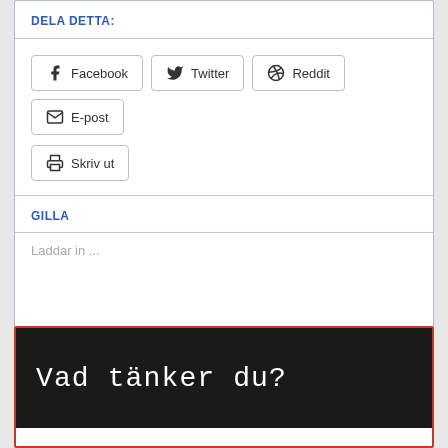DELA DETTA:
[Figure (screenshot): Social share buttons: Facebook, Twitter, Reddit, E-post, Skriv ut]
GILLA
Laddar in ...
Vad tänker du?